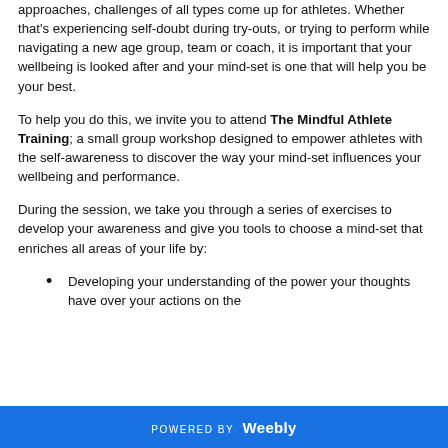approaches, challenges of all types come up for athletes. Whether that's experiencing self-doubt during try-outs, or trying to perform while navigating a new age group, team or coach, it is important that your wellbeing is looked after and your mind-set is one that will help you be your best.
To help you do this, we invite you to attend The Mindful Athlete Training; a small group workshop designed to empower athletes with the self-awareness to discover the way your mind-set influences your wellbeing and performance.
During the session, we take you through a series of exercises to develop your awareness and give you tools to choose a mind-set that enriches all areas of your life by:
Developing your understanding of the power your thoughts have over your actions on the
POWERED BY Weebly